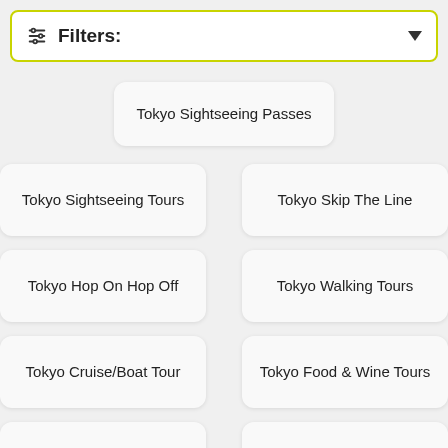Filters:
Tokyo Sightseeing Passes
Tokyo Sightseeing Tours
Tokyo Skip The Line
Tokyo Hop On Hop Off
Tokyo Walking Tours
Tokyo Cruise/Boat Tour
Tokyo Food & Wine Tours
Tokyo Day Trips
Tokyo Bike Tours